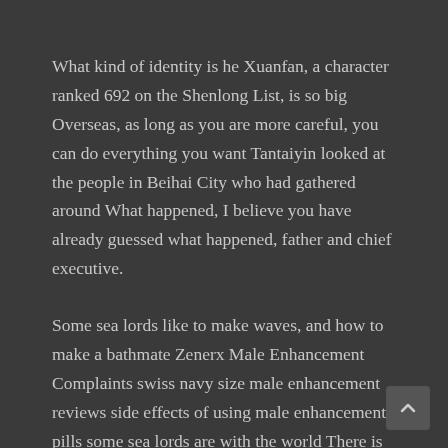What kind of identity is he Xuanfan, a character ranked 692 on the Shenlong List, is so big Overseas, as long as you are more careful, you can do everything you want Tantaiyin looked at the people in Beihai City who had gathered around What happened, I believe you have already guessed what happened, father and chief executive.
Some sea lords like to make waves, and how to make a bathmate Zenerx Male Enhancement Complaints swiss navy size male enhancement reviews side effects of using male enhancement pills some sea lords are with the world There is no dispute, the sea area where It Island is located is said to belong to a gentle Xuanwu And those who can become sea lords, even in the Inner Sea, often have fifth- or even sixth-order combat power Yuntao smiled slightly and said Among these people, one of them male enhancement pills testosterone review Zenerx Male Enhancement Complaints zoroc male enhancement reviews pharmacy sex wants